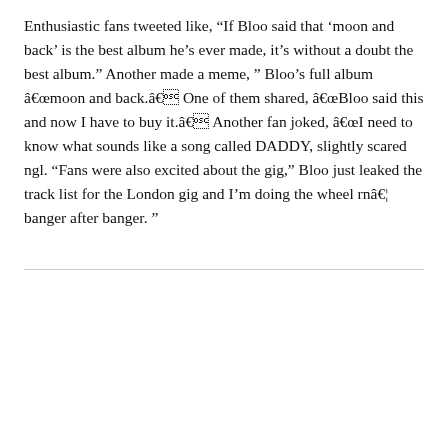Enthusiastic fans tweeted like, “If Bloo said that ‘moon and back’ is the best album he’s ever made, it’s without a doubt the best album.” Another made a meme, “ Bloo’s full album â€œmoon and back.â€ One of them shared, â€œBloo said this and now I have to buy it.â€ Another fan joked, â€œI need to know what sounds like a song called DADDY, slightly scared ngl. “Fans were also excited about the gig,” Bloo just leaked the track list for the London gig and I’m doing the wheel rnâ€¦ banger after banger. ”